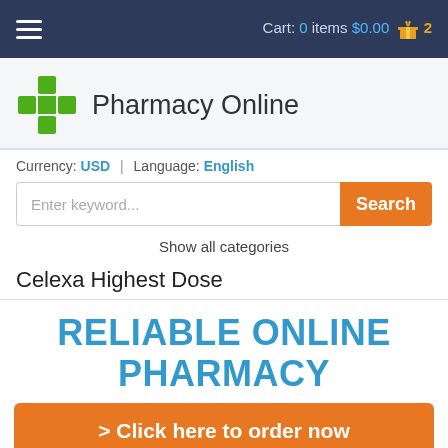Cart: 0 items $0.00 2
[Figure (logo): Green pharmacy cross logo]
Pharmacy Online
Currency: USD | Language: English
Enter keyword... Search
Show all categories
Celexa Highest Dose
RELIABLE ONLINE PHARMACY
> Click here to order now